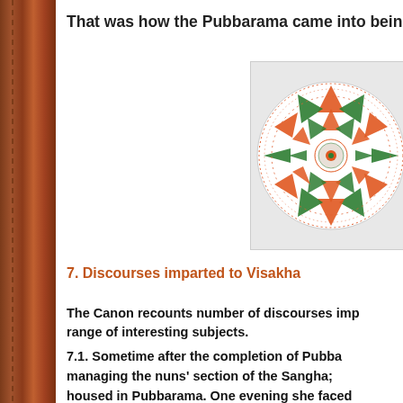That was how the Pubbarama came into being.
[Figure (illustration): Circular mandala with orange and green triangular patterns on white background, framed in light gray border.]
7. Discourses imparted to Visakha
The Canon recounts number of discourses imparted to Visakha on a range of interesting subjects.
7.1. Sometime after the completion of Pubbarama, Visakha was managing the nuns' section of the Sangha; some of them were housed in Pubbarama. One evening she faced a predicament difficult to handle. While on her rounds, she was monks fully drunk; dancing and singing crazy songs. She asked them to stop whatever they were doing, they did not li...